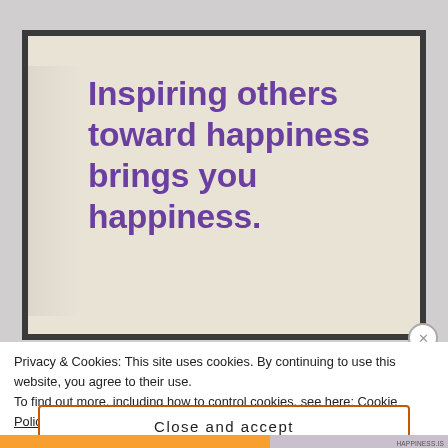[Figure (photo): A photo of a printed card or sign with purple bold text reading 'Inspiring others toward happiness brings you happiness.' on a light beige/cream background, with a decorative element visible on the left side.]
Privacy & Cookies: This site uses cookies. By continuing to use this website, you agree to their use.
To find out more, including how to control cookies, see here: Cookie Policy
Close and accept